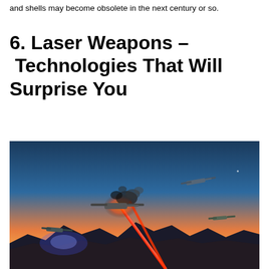and shells may become obsolete in the next century or so.
6. Laser Weapons – Technologies That Will Surprise You
[Figure (illustration): Digital illustration of a laser weapon firing a bright red beam at a drone aircraft in the sky, with mountains and a sunset in the background. Several drones are visible in the scene; the targeted drone is shown exploding with smoke and debris.]